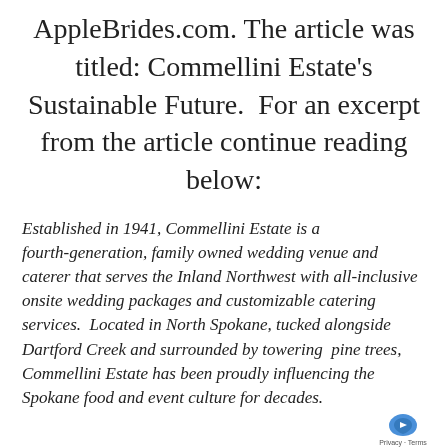AppleBrides.com. The article was titled: Commellini Estate's Sustainable Future.  For an excerpt from the article continue reading below:
Established in 1941, Commellini Estate is a fourth-generation, family owned wedding venue and caterer that serves the Inland Northwest with all-inclusive onsite wedding packages and customizable catering services.  Located in North Spokane, tucked alongside Dartford Creek and surrounded by towering  pine trees, Commellini Estate has been proudly influencing the Spokane food and event culture for decades.